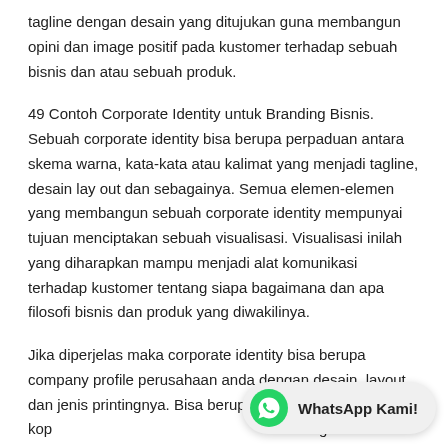tagline dengan desain yang ditujukan guna membangun opini dan image positif pada kustomer terhadap sebuah bisnis dan atau sebuah produk.
49 Contoh Corporate Identity untuk Branding Bisnis. Sebuah corporate identity bisa berupa perpaduan antara skema warna, kata-kata atau kalimat yang menjadi tagline, desain lay out dan sebagainya. Semua elemen-elemen yang membangun sebuah corporate identity mempunyai tujuan menciptakan sebuah visualisasi. Visualisasi inilah yang diharapkan mampu menjadi alat komunikasi terhadap kustomer tentang siapa bagaimana dan apa filosofi bisnis dan produk yang diwakilinya.
Jika diperjelas maka corporate identity bisa berupa company profile perusahaan anda dengan desain, layout dan jenis printingnya. Bisa berupa kop... dengan desain logo, tata kalimat pada alamat beserta